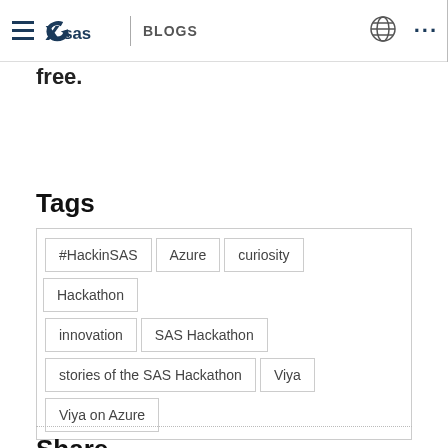SAS BLOGS
free.
Tags
#HackinSAS
Azure
curiosity
Hackathon
innovation
SAS Hackathon
stories of the SAS Hackathon
Viya
Viya on Azure
Share